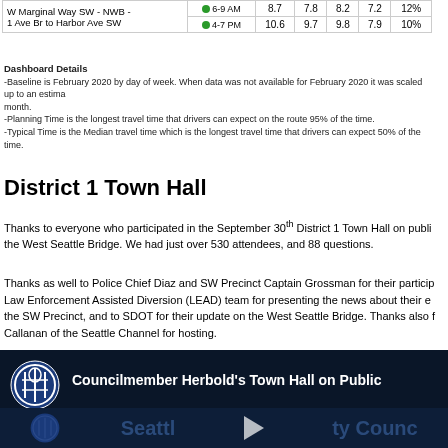| Route | Time | Col1 | Col2 | Col3 | Col4 | Col5 |
| --- | --- | --- | --- | --- | --- | --- |
| W Marginal Way SW - NWB - 1 Ave Br to Harbor Ave SW | 6-9 AM | 8.7 | 7.8 | 8.2 | 7.2 | 12% |
| W Marginal Way SW - NWB - 1 Ave Br to Harbor Ave SW | 4-7 PM | 10.6 | 9.7 | 9.8 | 7.9 | 10% |
Dashboard Details
-Baseline is February 2020 by day of week. When data was not available for February 2020 it was scaled up to an estimate month.
-Planning Time is the longest travel time that drivers can expect on the route 95% of the time.
-Typical Time is the Median travel time which is the longest travel time that drivers can expect 50% of the time.
District 1 Town Hall
Thanks to everyone who participated in the September 30th District 1 Town Hall on public safety and the West Seattle Bridge. We had just over 530 attendees, and 88 questions.
Thanks as well to Police Chief Diaz and SW Precinct Captain Grossman for their participation, to the Law Enforcement Assisted Diversion (LEAD) team for presenting the news about their expansion to the SW Precinct, and to SDOT for their update on the West Seattle Bridge. Thanks also for Callanan of the Seattle Channel for hosting.
[Figure (screenshot): Video thumbnail for Councilmember Herbold's Town Hall on Public Safety showing Seattle City Council logo and dark background with Seattle TV Council text at bottom]